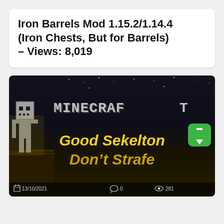Iron Barrels Mod 1.15.2/1.14.4 (Iron Chests, But for Barrels) – Views: 8,019
[Figure (screenshot): Minecraft game screenshot showing a skeleton character on the left, the Minecraft logo at top, and golden italic text reading 'Good Sekelton Don't Strafe'. A green upload arrow button appears on the right. Footer shows date 13/10/2021, comment count 0, and view count 281.]